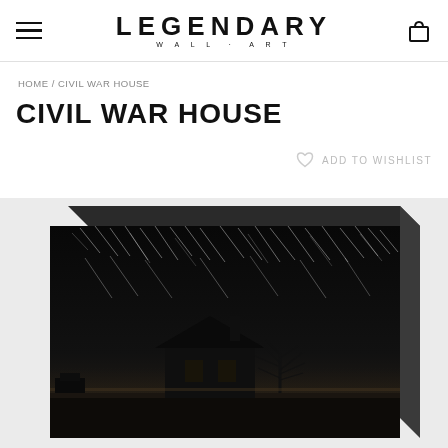LEGENDARY WALL ART — navigation header with hamburger menu and cart icon
HOME / CIVIL WAR HOUSE
CIVIL WAR HOUSE
ADD TO WISHLIST
[Figure (photo): Black and white night photography canvas print of a Civil War era stone house with star trails in the dark sky above, displayed as a wrapped canvas with visible 3D edge, on a light textured background.]